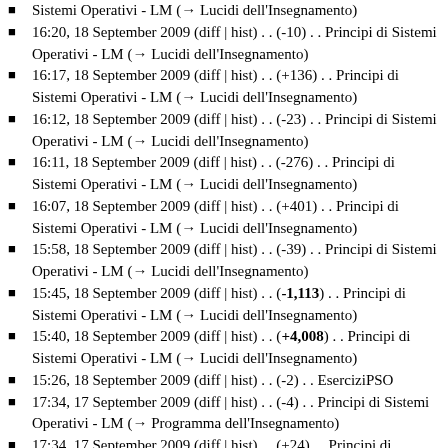16:20, 18 September 2009 (diff | hist) . . (-10) . . Principi di Sistemi Operativi - LM  (→ Lucidi dell'Insegnamento)
16:17, 18 September 2009 (diff | hist) . . (+136) . . Principi di Sistemi Operativi - LM  (→ Lucidi dell'Insegnamento)
16:12, 18 September 2009 (diff | hist) . . (-23) . . Principi di Sistemi Operativi - LM  (→ Lucidi dell'Insegnamento)
16:11, 18 September 2009 (diff | hist) . . (-276) . . Principi di Sistemi Operativi - LM  (→ Lucidi dell'Insegnamento)
16:07, 18 September 2009 (diff | hist) . . (+401) . . Principi di Sistemi Operativi - LM  (→ Lucidi dell'Insegnamento)
15:58, 18 September 2009 (diff | hist) . . (-39) . . Principi di Sistemi Operativi - LM  (→ Lucidi dell'Insegnamento)
15:45, 18 September 2009 (diff | hist) . . (-1,113) . . Principi di Sistemi Operativi - LM  (→ Lucidi dell'Insegnamento)
15:40, 18 September 2009 (diff | hist) . . (+4,008) . . Principi di Sistemi Operativi - LM  (→ Lucidi dell'Insegnamento)
15:26, 18 September 2009 (diff | hist) . . (-2) . . EserciziPSO
17:34, 17 September 2009 (diff | hist) . . (-4) . . Principi di Sistemi Operativi - LM  (→ Programma dell'Insegnamento)
17:34, 17 September 2009 (diff | hist) . . (+24) . . Principi di Sistemi Operativi - LM  (→ Programma dell'Insegnamento)
17:33, 17 September 2009 (diff | hist) . . (+40) . . Principi di Sistemi Operativi - LM  (→ Programma dell'Insegnamento)
15:23, 17 September 2009 (diff | hist) . . (+320) . . Principi di Sistemi Operativi - LM  (→ Registro)